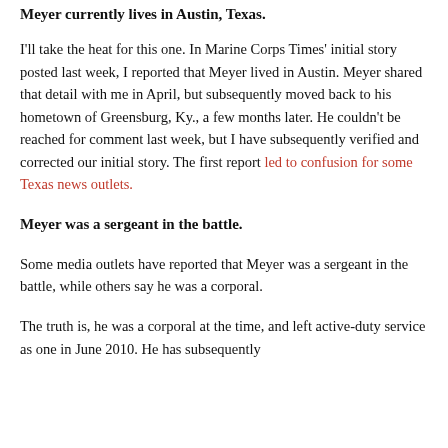Meyer currently lives in Austin, Texas.
I'll take the heat for this one. In Marine Corps Times' initial story posted last week, I reported that Meyer lived in Austin. Meyer shared that detail with me in April, but subsequently moved back to his hometown of Greensburg, Ky., a few months later. He couldn't be reached for comment last week, but I have subsequently verified and corrected our initial story. The first report led to confusion for some Texas news outlets.
Meyer was a sergeant in the battle.
Some media outlets have reported that Meyer was a sergeant in the battle, while others say he was a corporal.
The truth is, he was a corporal at the time, and left active-duty service as one in June 2010. He has subsequently